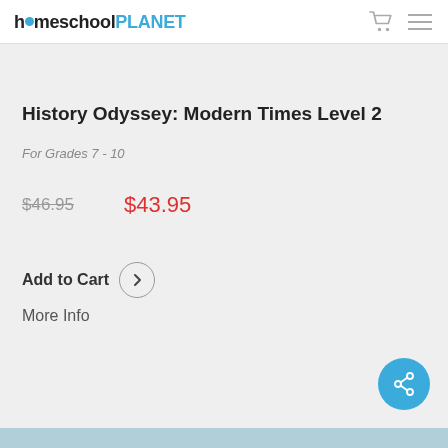[Figure (logo): Homeschool Planet logo with blue dot replacing the 'o' in homeschool and PLANET in blue]
History Odyssey: Modern Times Level 2
For Grades 7 - 10
$46.95 (strikethrough)  $43.95
Add to Cart
More Info